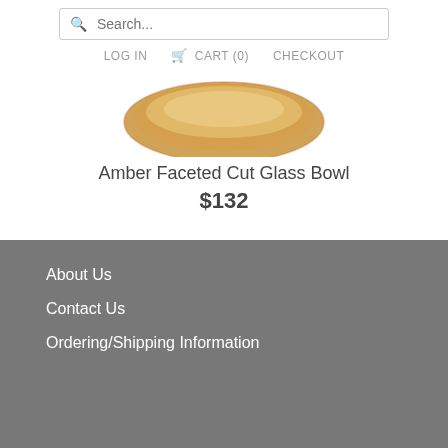Search...  LOG IN  CART (0)  CHECKOUT
[Figure (photo): Amber faceted cut glass bowl product image]
Amber Faceted Cut Glass Bowl
$132
About Us
Contact Us
Ordering/Shipping Information
About Us  Contact Us  Ordering/Shipping Information